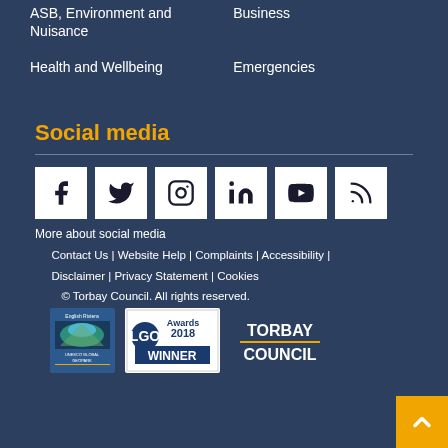ASB, Environment and Nuisance
Business
Health and Wellbeing
Emergencies
Social media
[Figure (infographic): Six social media icon buttons: Facebook, Twitter, Instagram, LinkedIn, YouTube, RSS]
More about social media
Contact Us | Website Help | Complaints | Accessibility | Disclaimer | Privacy Statement | Cookies
© Torbay Council. All rights reserved.
[Figure (logo): English Riviera UNESCO Global Geopark logo, LGO Awards 2018 Winner logo, Torbay Council logo]